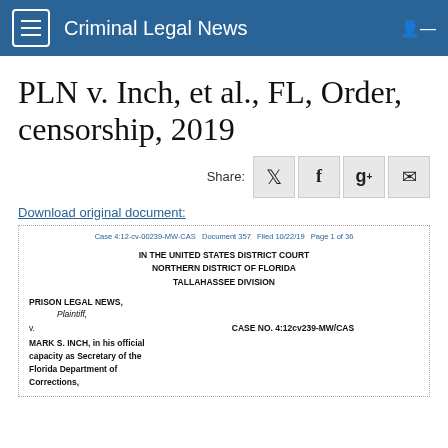Criminal Legal News
PLN v. Inch, et al., FL, Order, censorship, 2019
Share:
Download original document:
Case 4:12-cv-00239-MW-CAS   Document 357   Filed 10/22/19   Page 1 of 36
IN THE UNITED STATES DISTRICT COURT
NORTHERN DISTRICT OF FLORIDA
TALLAHASSEE DIVISION
PRISON LEGAL NEWS,

Plaintiff,

v.

MARK S. INCH, in his official capacity as Secretary of the Florida Department of Corrections,
CASE NO. 4:12cv239-MW/CAS